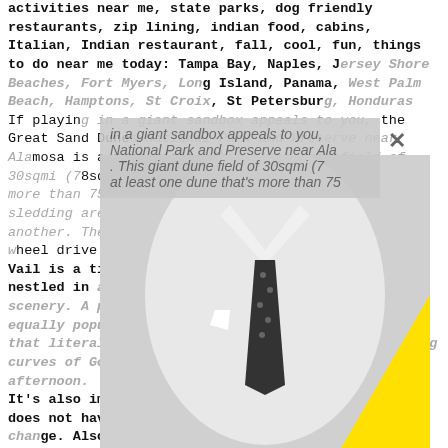activities near me, state parks, dog friendly restaurants, zip lining, indian food, cabins, Italian, Indian restaurant, fall, cool, fun, things to do near me today: Tampa Bay, Naples, Jersey Shore Beaches, Fort Myers, Long Island, Panama, West Palm Beach, Hamptons, St Croix, St Petersburg, Honduras
If playing in a giant sandbox appeals to you, the Great Sand Dunes National Park and Preserve near Alamosa is a must-visit. This giant dune field of 30sqmi (78sqkm) features at least one dune that's more than 750ft (229m) high. Sandboarding and sledding are a popular pastime, and hiking is another. The park also horseback riding and a four-wheel drive on Medano Creek.
Vail is a tiny town nestled in the Rocky Mountains and nestled in a valley surrounded by picturesque scenery. A popular destination in the winter, but equally popular in the summer. Vail also has a creek that literally runs through town – follow the winding curves of Gore Creek on a walk some peaceful afternoon.
It's also imported to note that the Bishop Castle does not have any heat or facilities for people to change. Also, there are no services or assistance provided by the Bishop Castle to provide guests with access to the Castle. Lastly, while the Bishop Castle does not charge
[Figure (photo): Photo of a man in a white shirt, dark tie with polka dots, and a pocket square, partially overlaid by a bright yellow triangle shape. The image is overlapping the text content of the page.]